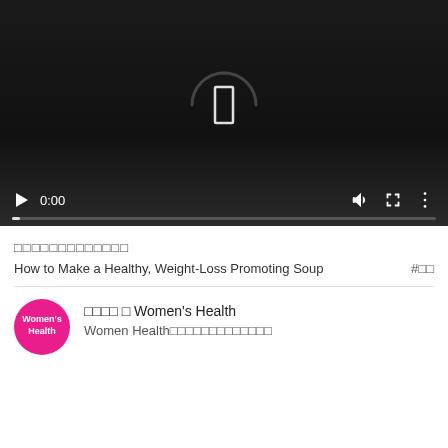[Figure (screenshot): Video player with dark background showing a loading spinner/icon in the center, controls bar at bottom with play button, 0:00 timestamp, volume, fullscreen, and more options icons, and a progress bar.]
□□□□□□□□□□□□□
How to Make a Healthy, Weight-Loss Promoting Soup    #□□
□□□□ □ Women's Health
Women Health□□□□□□□□□□□□□